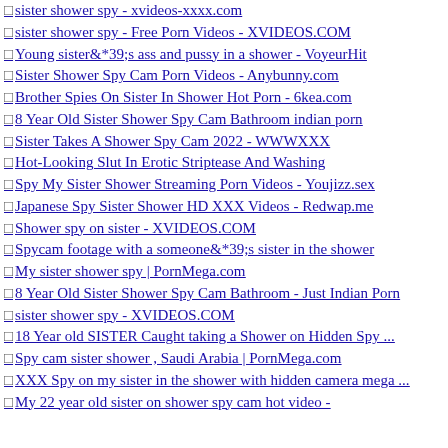sister shower spy - xvideos-xxxx.com
sister shower spy - Free Porn Videos - XVIDEOS.COM
Young sister&*39;s ass and pussy in a shower - VoyeurHit
Sister Shower Spy Cam Porn Videos - Anybunny.com
Brother Spies On Sister In Shower Hot Porn - 6kea.com
8 Year Old Sister Shower Spy Cam Bathroom indian porn
Sister Takes A Shower Spy Cam 2022 - WWWXXX
Hot-Looking Slut In Erotic Striptease And Washing
Spy My Sister Shower Streaming Porn Videos - Youjizz.sex
Japanese Spy Sister Shower HD XXX Videos - Redwap.me
Shower spy on sister - XVIDEOS.COM
Spycam footage with a someone&*39;s sister in the shower
My sister shower spy | PornMega.com
8 Year Old Sister Shower Spy Cam Bathroom - Just Indian Porn
sister shower spy - XVIDEOS.COM
18 Year old SISTER Caught taking a Shower on Hidden Spy ...
Spy cam sister shower , Saudi Arabia | PornMega.com
XXX Spy on my sister in the shower with hidden camera mega ...
My 22 year old sister on shower spy cam hot video -